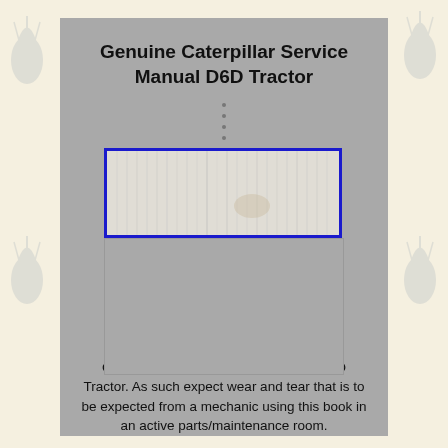Genuine Caterpillar Service Manual D6D Tractor
[Figure (photo): Photograph of a Genuine Caterpillar Service Manual D6D Tractor book, shown horizontally with a blue rectangular border overlay. The book cover appears faded/worn showing a white/light surface with faint text and markings typical of a used technical manual.]
Genuine Caterpillar Service Manual D6D Tractor. As such expect wear and tear that is to be expected from a mechanic using this book in an active parts/maintenance room.